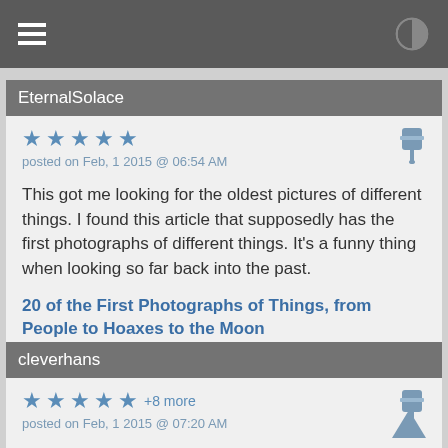☰  [contrast icon]
EternalSolace
★★★★★ posted on Feb, 1 2015 @ 06:54 AM
This got me looking for the oldest pictures of different things. I found this article that supposedly has the first photographs of different things. It's a funny thing when looking so far back into the past.
20 of the First Photographs of Things, from People to Hoaxes to the Moon
cleverhans
★★★★★ +8 more posted on Feb, 1 2015 @ 07:20 AM